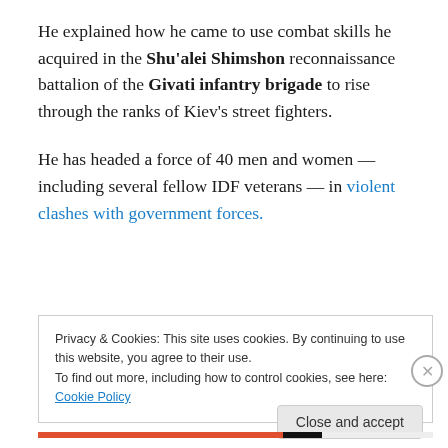He explained how he came to use combat skills he acquired in the Shu'alei Shimshon reconnaissance battalion of the Givati infantry brigade to rise through the ranks of Kiev's street fighters.
He has headed a force of 40 men and women — including several fellow IDF veterans — in violent clashes with government forces.
Privacy & Cookies: This site uses cookies. By continuing to use this website, you agree to their use.
To find out more, including how to control cookies, see here: Cookie Policy